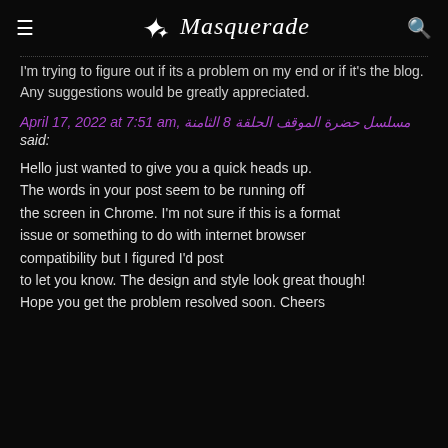≡  Masquerade  🔍
I'm trying to figure out if its a problem on my end or if it's the blog.
Any suggestions would be greatly appreciated.
April 17, 2022 at 7:51 am, مسلسل حضرة الموقف الحلقة 8 الثامنة said:
Hello just wanted to give you a quick heads up. The words in your post seem to be running off the screen in Chrome. I'm not sure if this is a format issue or something to do with internet browser compatibility but I figured I'd post to let you know. The design and style look great though! Hope you get the problem resolved soon. Cheers